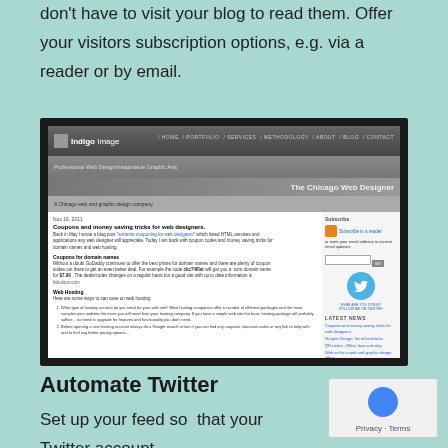don't have to visit your blog to read them. Offer your visitors subscription options, e.g. via a reader or by email.
[Figure (screenshot): Screenshot of the Indigo Image website showing a blog post titled 'Coupons and money saving tricks for web designers.' with navigation menu, subscribe sidebar with RSS icon and Twitter follow button, and latest news section.]
Automate Twitter
Set up your feed so  that your Twitter account